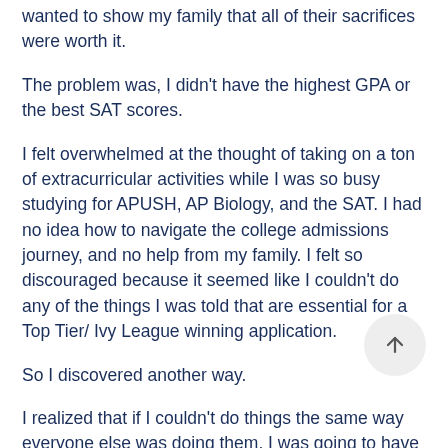wanted to show my family that all of their sacrifices were worth it.
The problem was, I didn't have the highest GPA or the best SAT scores.
I felt overwhelmed at the thought of taking on a ton of extracurricular activities while I was so busy studying for APUSH, AP Biology, and the SAT. I had no idea how to navigate the college admissions journey, and no help from my family. I felt so discouraged because it seemed like I couldn't do any of the things I was told that are essential for a Top Tier/ Ivy League winning application.
So I discovered another way.
I realized that if I couldn't do things the same way everyone else was doing them, I was going to have to find a unique way to stand out.